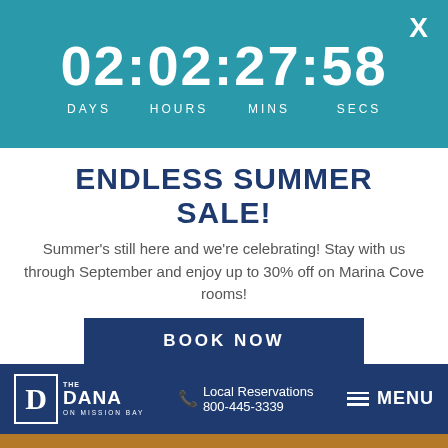[Figure (screenshot): Teal countdown timer banner showing 02:02:27:58 with labels DAYS HOURS MINS SECS and a close X button]
ENDLESS SUMMER SALE!
Summer's still here and we're celebrating! Stay with us through September and enjoy up to 30% off on Marina Cove rooms!
BOOK NOW
[Figure (logo): The Dana on Mission Bay logo with white D in bordered box]
Local Reservations 800-445-3339
MENU
BOOK NOW